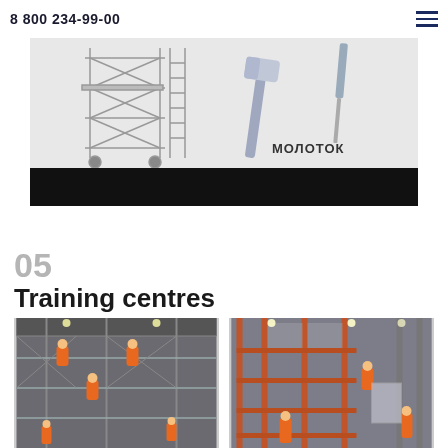8 800 234-99-00
[Figure (photo): Scaffolding tower and hammer tool on light background with Cyrillic label МОЛОТОК]
05
Training centres
[Figure (photo): Workers in orange safety gear on scaffolding inside an industrial building]
[Figure (photo): Workers in orange safety gear assembling rack/scaffolding system in a warehouse]